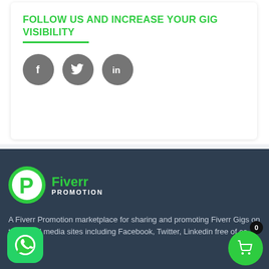FOLLOW US AND INCREASE YOUR GIG VISIBILITY
[Figure (illustration): Three circular dark gray social media icons: Facebook (f), Twitter (bird), LinkedIn (in)]
[Figure (logo): Fiverr Promotion logo: green stylized P icon with 'Fiverr' in green and 'PROMOTION' in white below]
A Fiverr Promotion marketplace for sharing and promoting Fiverr Gigs on top social media sites including Facebook, Twitter, Linkedin free of co...
[Figure (illustration): WhatsApp green rounded icon with chat bubble]
[Figure (illustration): Green circular cart button with badge showing 0]